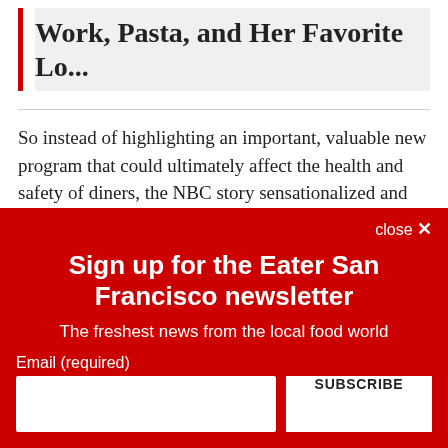Work, Pasta, and Her Favorite Lo...
So instead of highlighting an important, valuable new program that could ultimately affect the health and safety of diners, the NBC story sensationalized and inaccurately
close ✕
Sign up for the Eater San Francisco newsletter
The freshest news from the local food world
Email (required)
SUBSCRIBE
By submitting your email, you agree to our Terms and Privacy Notice. You can opt out at any time. This site is protected by reCAPTCHA and the Google Privacy Policy and Terms of Service apply.